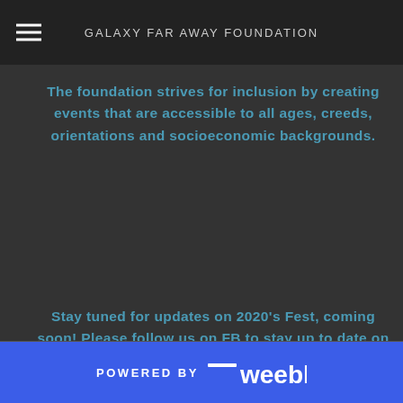GALAXY FAR AWAY FOUNDATION
The foundation strives for inclusion by creating events that are accessible to all ages, creeds, orientations and socioeconomic backgrounds.
Stay tuned for updates on 2020's Fest, coming soon! Please follow us on FB to stay up to date on our other events and fundraisers as well as the fest and IG for a fun look at GFAF.
POWERED BY weebly